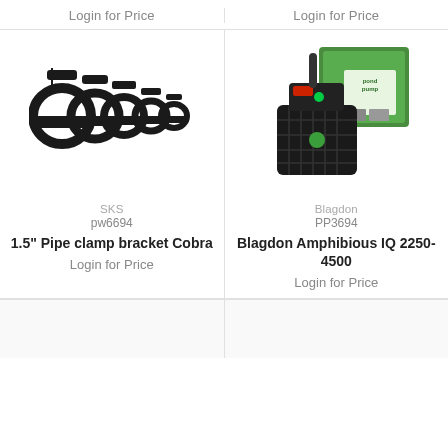Login for Price
Login for Price
[Figure (photo): Five black plastic pipe clamp brackets of decreasing size arranged left to right]
[Figure (photo): Blagdon Amphibious IQ pond pump with green product packaging box in background]
SKS
pw6694
1.5" Pipe clamp bracket Cobra
Login for Price
Blagdon
PP3694
Blagdon Amphibious IQ 2250-4500
Login for Price